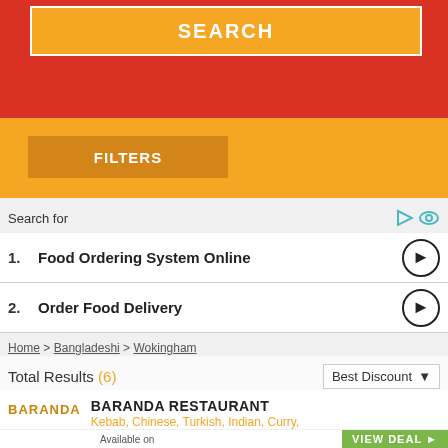[Figure (screenshot): Red banner with SEARCH button in orange]
[Figure (screenshot): Orange filters bar with FILTERS button]
Search for
1. Food Ordering System Online
2. Order Food Delivery
Home > Bangladeshi > Wokingham
Total Results (6)   Best Discount
BARANDA RESTAURANT
Kebab, Chinese, Turkish, Indian, Curry, Bangladeshi, Egyptian, Balti, Tandoori
659 reviews ★★★★☆
Available on   VIEW DEAL